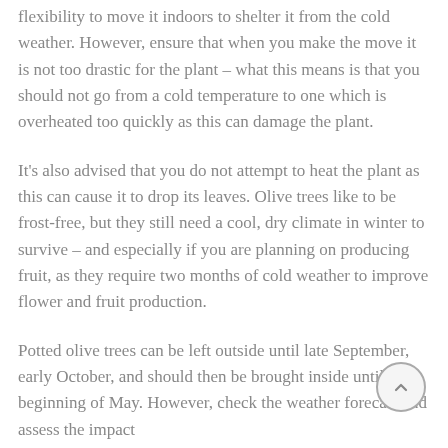flexibility to move it indoors to shelter it from the cold weather. However, ensure that when you make the move it is not too drastic for the plant – what this means is that you should not go from a cold temperature to one which is overheated too quickly as this can damage the plant.
It's also advised that you do not attempt to heat the plant as this can cause it to drop its leaves. Olive trees like to be frost-free, but they still need a cool, dry climate in winter to survive – and especially if you are planning on producing fruit, as they require two months of cold weather to improve flower and fruit production.
Potted olive trees can be left outside until late September, early October, and should then be brought inside until the beginning of May. However, check the weather forecast and assess the impact